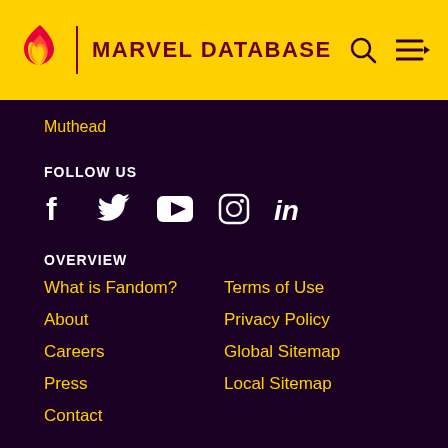MARVEL DATABASE
Muthead
FOLLOW US
[Figure (other): Social media icons: Facebook, Twitter, YouTube, Instagram, LinkedIn]
OVERVIEW
What is Fandom?
Terms of Use
About
Privacy Policy
Careers
Global Sitemap
Press
Local Sitemap
Contact